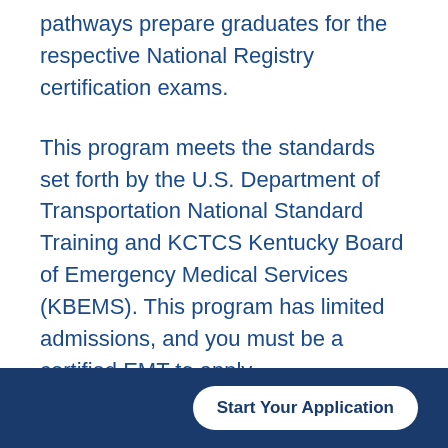pathways prepare graduates for the respective National Registry certification exams.
This program meets the standards set forth by the U.S. Department of Transportation National Standard Training and KCTCS Kentucky Board of Emergency Medical Services (KBEMS). This program has limited admissions, and you must be a certified EMT to apply.
What are my career choices?
Start Your Application